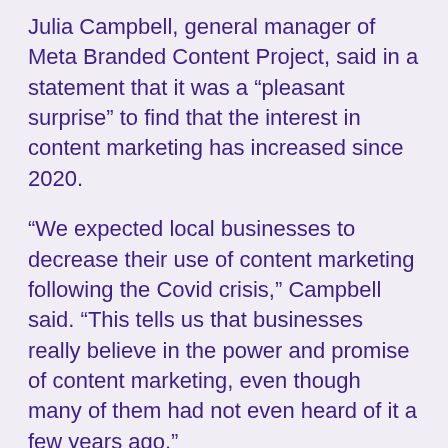Julia Campbell, general manager of Meta Branded Content Project, said in a statement that it was a “pleasant surprise” to find that the interest in content marketing has increased since 2020.
“We expected local businesses to decrease their use of content marketing following the Covid crisis,” Campbell said. “This tells us that businesses really believe in the power and promise of content marketing, even though many of them had not even heard of it a few years ago.”
The study also found that two out of three local businesses use content marketing now, and $80 billion has been spent on it this year.